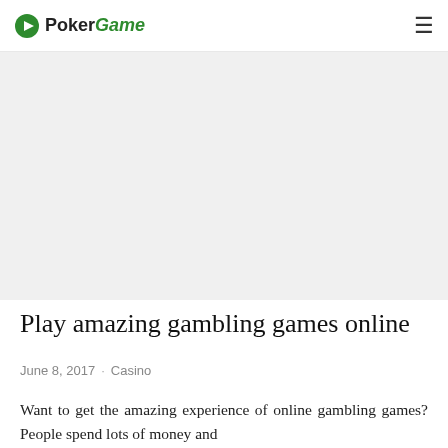PokerGame
[Figure (other): Hero image area — large light grey placeholder image below the navigation header]
Play amazing gambling games online
June 8, 2017 · Casino
Want to get the amazing experience of online gambling games? People spend lots of money and